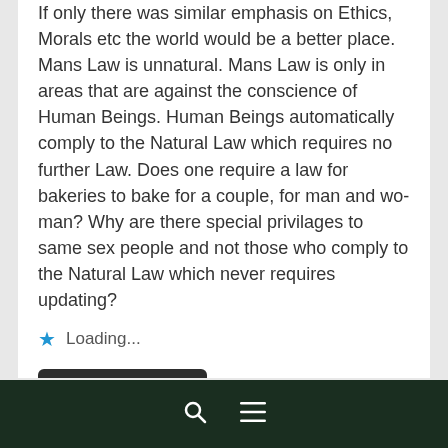If only there was similar emphasis on Ethics, Morals etc the world would be a better place. Mans Law is unnatural. Mans Law is only in areas that are against the conscience of Human Beings. Human Beings automatically comply to the Natural Law which requires no further Law. Does one require a law for bakeries to bake for a couple, for man and wo-man? Why are there special privilages to same sex people and not those who comply to the Natural Law which never requires updating?
Loading...
Log in to Reply